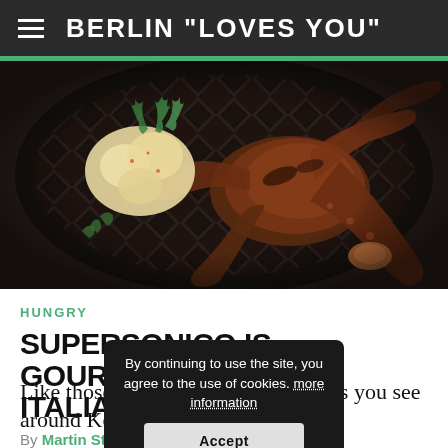BERLIN "LOVES YOU"
[Figure (photo): Overhead close-up photo of a grilled octopus dish served on a black and white geometric patterned plate, garnished with dill and potatoes.]
HUNGRY
SUPERSONICO IS GOURMET ITALIAN FAST FOOD
By Martin Stokes
Like those strange courier-style bicycles you see around Kotti
By continuing to use the site, you agree to the use of cookies. more information
Accept